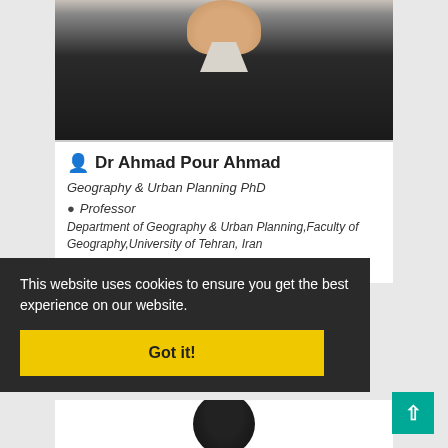[Figure (photo): Headshot photo of Dr Ahmad Pour Ahmad, man in dark suit with light shirt, cropped at upper chest, partial view]
Dr Ahmad Pour Ahmad
Geography & Urban Planning PhD
Professor
Department of Geography & Urban Planning,Faculty of Geography,University of Tehran, Iran
geography.ut.ac.ir/en/~apoura
This website uses cookies to ensure you get the best experience on our website.
Got it!
[Figure (photo): Partial headshot of a second person at the bottom, cropped, dark hair, cut off by page edge]